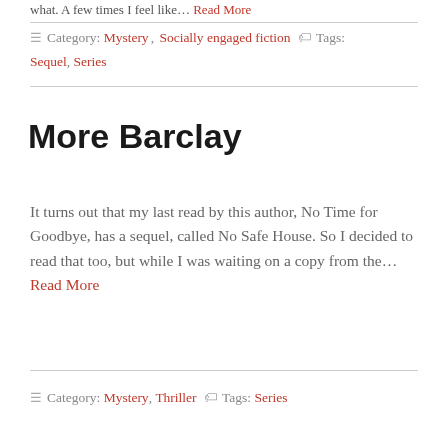what. A few times I feel like... Read More
≡ Category: Mystery, Socially engaged fiction 🏷 Tags: Sequel, Series
More Barclay
It turns out that my last read by this author, No Time for Goodbye, has a sequel, called No Safe House. So I decided to read that too, but while I was waiting on a copy from the... Read More
≡ Category: Mystery, Thriller 🏷 Tags: Series